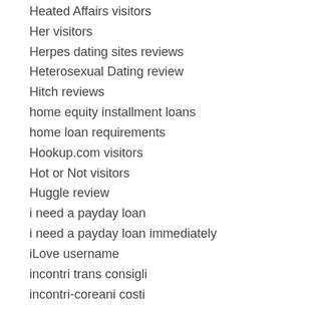Heated Affairs visitors
Her visitors
Herpes dating sites reviews
Heterosexual Dating review
Hitch reviews
home equity installment loans
home loan requirements
Hookup.com visitors
Hot or Not visitors
Huggle review
i need a payday loan
i need a payday loan immediately
iLove username
incontri trans consigli
incontri-coreani costi